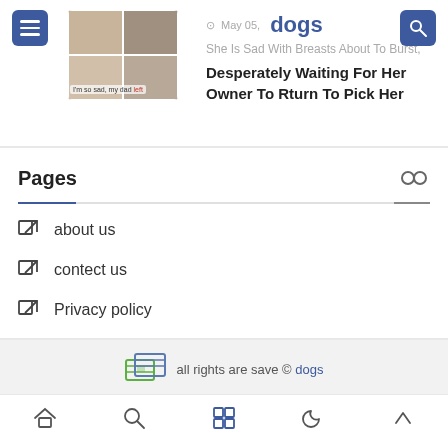[Figure (screenshot): Article thumbnail with dog images grid and caption 'I'm so sad, my dad left']
May 05, dogs
She Is Sad With Breasts About To Burst,
Desperately Waiting For Her Owner To Rturn To Pick Her
Pages
about us
contect us
Privacy policy
all rights are save © dogs